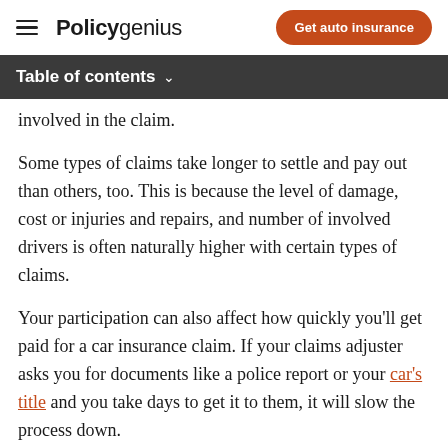Policygenius | Get auto insurance
Table of contents
involved in the claim.
Some types of claims take longer to settle and pay out than others, too. This is because the level of damage, cost or injuries and repairs, and number of involved drivers is often naturally higher with certain types of claims.
Your participation can also affect how quickly you'll get paid for a car insurance claim. If your claims adjuster asks you for documents like a police report or your car's title and you take days to get it to them, it will slow the process down.